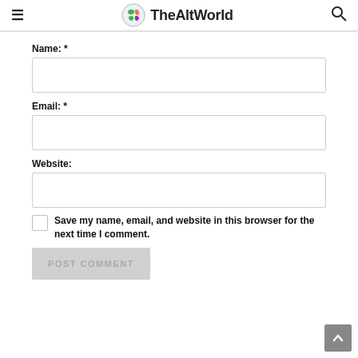TheAltWorld
Name: *
[Figure (other): Empty text input box for Name field]
Email: *
[Figure (other): Empty text input box for Email field]
Website:
[Figure (other): Empty text input box for Website field]
Save my name, email, and website in this browser for the next time I comment.
POST COMMENT